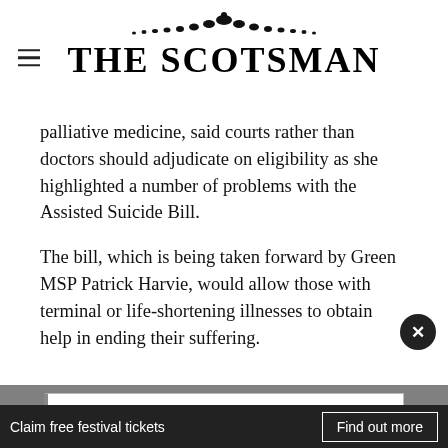THE SCOTSMAN
palliative medicine, said courts rather than doctors should adjudicate on eligibility as she highlighted a number of problems with the Assisted Suicide Bill.
The bill, which is being taken forward by Green MSP Patrick Harvie, would allow those with terminal or life-shortening illnesses to obtain help in ending their suffering.
Get the full festival experience
Claim free festival tickets
Find out more